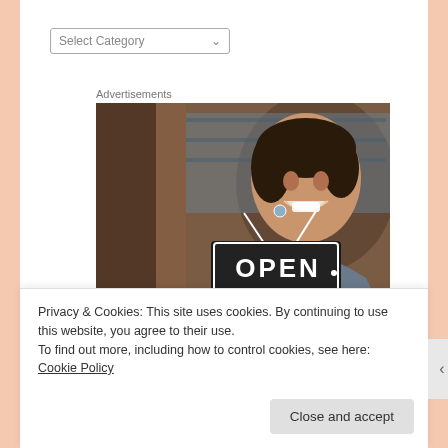Select Category
Advertisements
[Figure (photo): A smiling woman holding an OPEN sign at a shop window, photographed from outside the store.]
Privacy & Cookies: This site uses cookies. By continuing to use this website, you agree to their use.
To find out more, including how to control cookies, see here: Cookie Policy
Close and accept